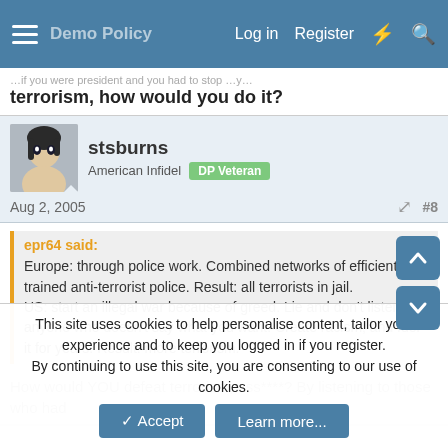Log in  Register
terrorism, how would you do it?
stsburns
American Infidel  DP Veteran
Aug 2, 2005  #8
epr64 said:
Europe: through police work. Combined networks of efficient and trained anti-terrorist police. Result: all terrorists in jail.
US: start an illegal war because of greed. Lie and don't listen to anyone who doesn't say what you want. Create racism, and fuel it for years. Result: more terrorism.
How would YOU defeat terrorism, ass****? By listening to those who had
This site uses cookies to help personalise content, tailor your experience and to keep you logged in if you register.
By continuing to use this site, you are consenting to our use of cookies.